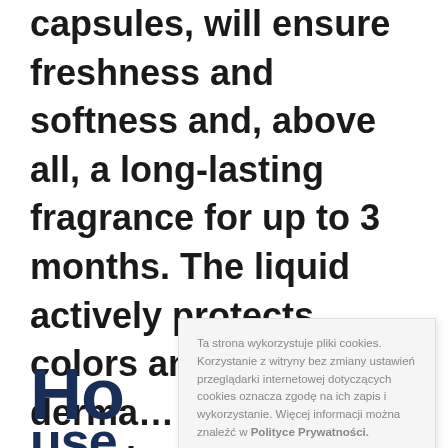capsules, will ensure freshness and softness and, above all, a long-lasting fragrance for up to 3 months. The liquid actively protects colors and fabrics. It is derma... tested...
Ta strona wykorzystuje pliki cookies. Korzystanie z witryny bez zmiany ustawień przeglądarki internetowej dotyczących cookies oznacza zgodę na ich zapis i wykorzystanie. Więcej informacji można znaleźć w Polityce Prywatności.

Zgadzam się
Ho
use